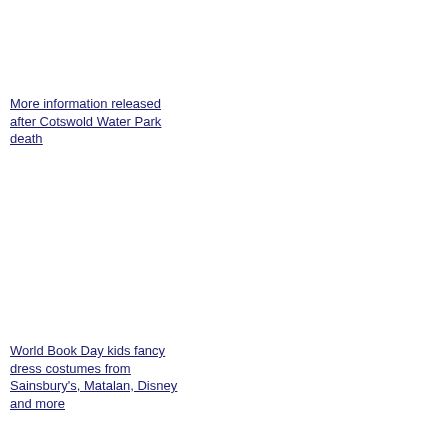More information released after Cotswold Water Park death
World Book Day kids fancy dress costumes from Sainsbury's, Matalan, Disney and more